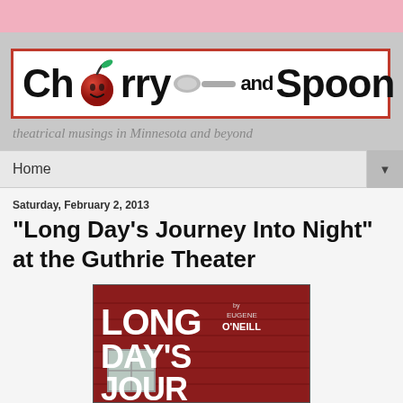[Figure (logo): Cherry and Spoon logo — bold black text with a red cherry graphic replacing the 'o' in Cherry, and a spoon graphic, on white background with red border]
theatrical musings in Minnesota and beyond
Home
Saturday, February 2, 2013
"Long Day's Journey Into Night" at the Guthrie Theater
[Figure (photo): Book/play cover for Long Day's Journey by Eugene O'Neill — dark red background with large white text 'LONG DAY'S JOURNEY' and a window illustration]